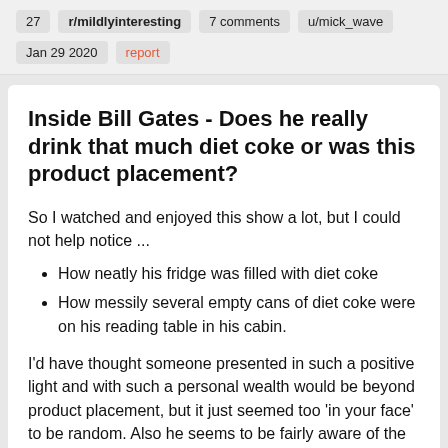27  r/mildlyinteresting  7 comments  u/mick_wave
Jan 29 2020  report
Inside Bill Gates - Does he really drink that much diet coke or was this product placement?
So I watched and enjoyed this show a lot, but I could not help notice ...
How neatly his fridge was filled with diet coke
How messily several empty cans of diet coke were on his reading table in his cabin.
I'd have thought someone presented in such a positive light and with such a personal wealth would be beyond product placement, but it just seemed too 'in your face' to be random. Also he seems to be fairly aware of the effects of things he does and so I do wonder if he really does drink that much soft